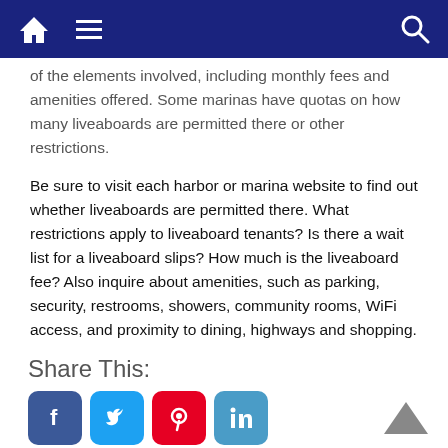Navigation bar with home, menu, and search icons
of the elements involved, including monthly fees and amenities offered. Some marinas have quotas on how many liveaboards are permitted there or other restrictions.
Be sure to visit each harbor or marina website to find out whether liveaboards are permitted there. What restrictions apply to liveaboard tenants? Is there a wait list for a liveaboard slips? How much is the liveaboard fee? Also inquire about amenities, such as parking, security, restrooms, showers, community rooms, WiFi access, and proximity to dining, highways and shopping.
Share This:
[Figure (illustration): Social media share buttons: Facebook, Twitter, Pinterest, LinkedIn]